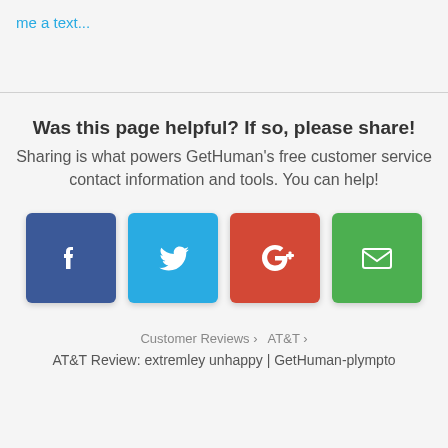me a text...
Was this page helpful? If so, please share!
Sharing is what powers GetHuman's free customer service contact information and tools. You can help!
[Figure (infographic): Four social sharing buttons: Facebook (blue), Twitter (light blue), Google+ (red), Email (green)]
Customer Reviews › AT&T ›
AT&T Review: extremley unhappy | GetHuman-plympto